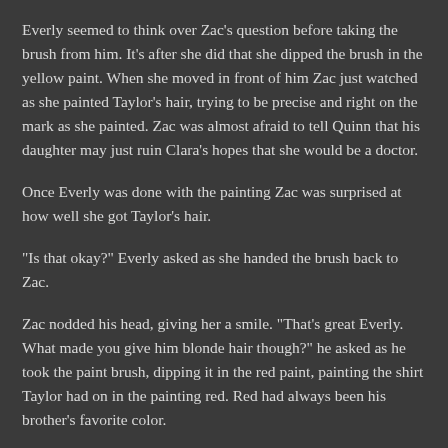Everly seemed to think over Zac's question before taking the brush from him. It's after she did that she dipped the brush in the yellow paint. When she moved in front of him Zac just watched as she painted Taylor's hair, trying to be precise and right on the mark as she painted. Zac was almost afraid to tell Quinn that his daughter may just ruin Clara's hopes that she would be a doctor.
Once Everly was done with the painting Zac was surprised at how well she got Taylor's hair.
"Is that okay?" Everly asked as she handed the brush back to Zac.
Zac nodded his head, giving her a smile. "That's great Everly. What made you give him blonde hair though?" he asked as he took the paint brush, dipping it in the red paint, painting the shirt Taylor had on in the painting red. Red had always been his brother's favorite color.
"Because I have seen pictures of him in your sock drawer," Everly giggled as she moved to stand beside Zac, watching as he painted.